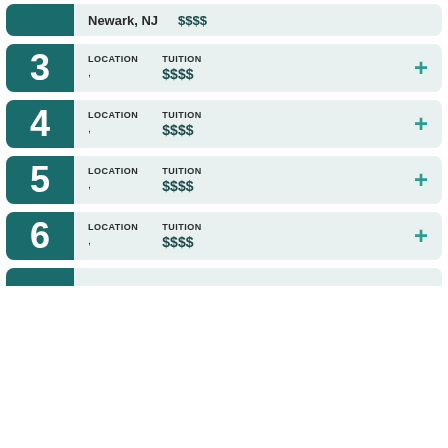Top partial card: Newark, NJ — $$$$
3 — LOCATION, — TUITION $$$$
4 — LOCATION, — TUITION $$$$
5 — LOCATION, — TUITION $$$$
6 — LOCATION, — TUITION $$$$
Bottom partial card (number cut off)